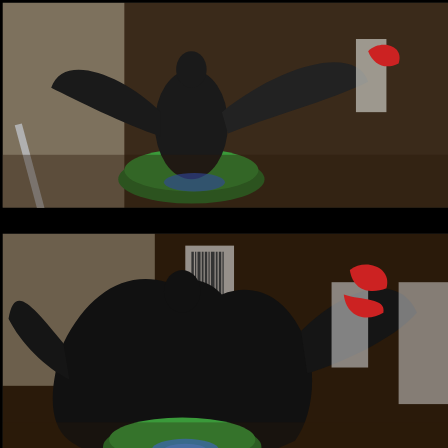[Figure (photo): A dark fantasy miniature figure (Crypt Wraith) with bat-like wings, mounted on a green bottle cap, shown from above on a wooden surface with other miniatures in the background. Silver sculpting tool visible on the left.]
[Figure (photo): Close-up of the same Crypt Wraith miniature after basecoating, showing black/dark robes and cloak with a blue glowing base, mounted on a green bottle cap. Red miniatures visible in the background.]
I also basecoated the Crypt Wraith. I'm actually using various colors this time rather than going for black/grey with spooky green eyes and such. I'm actually going to paint him sort of like a Templar